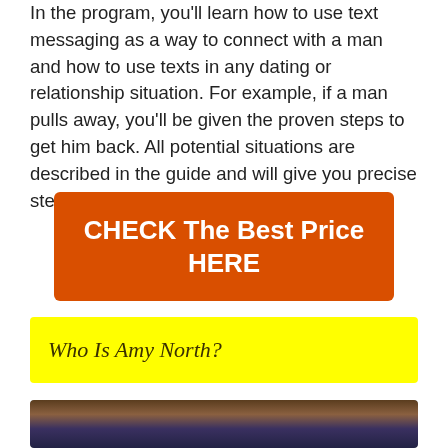In the program, you'll learn how to use text messaging as a way to connect with a man and how to use texts in any dating or relationship situation. For example, if a man pulls away, you'll be given the proven steps to get him back. All potential situations are described in the guide and will give you precise steps to follow.
[Figure (other): Orange/red call-to-action button with white bold text: 'CHECK The Best Price HERE']
Who Is Amy North?
[Figure (photo): Partial photo of a person wearing a dark wide-brimmed hat, cropped at bottom of page]